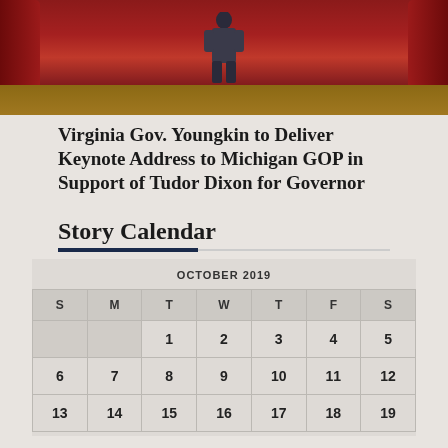[Figure (photo): Photo of a person on a stage with red curtain backdrop]
Virginia Gov. Youngkin to Deliver Keynote Address to Michigan GOP in Support of Tudor Dixon for Governor
Story Calendar
| S | M | T | W | T | F | S |
| --- | --- | --- | --- | --- | --- | --- |
|  |  | 1 | 2 | 3 | 4 | 5 |
| 6 | 7 | 8 | 9 | 10 | 11 | 12 |
| 13 | 14 | 15 | 16 | 17 | 18 | 19 |